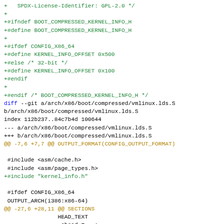diff hunk showing changes to boot/compressed kernel info header and vmlinux.lds.S linker script